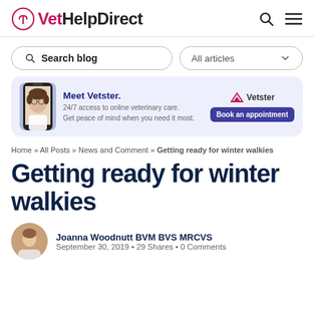VetHelpDirect
Search blog | All articles
[Figure (infographic): Vetster advertisement banner: photo of smiling woman on phone, 'Meet Vetster. 24/7 access to online veterinary care. Get peace of mind when you need it most.' with Vetster logo and 'Book an appointment' button]
Home » All Posts » News and Comment » Getting ready for winter walkies
Getting ready for winter walkies
Joanna Woodnutt BVM BVS MRCVS
September 30, 2019 • 29 Shares • 0 Comments